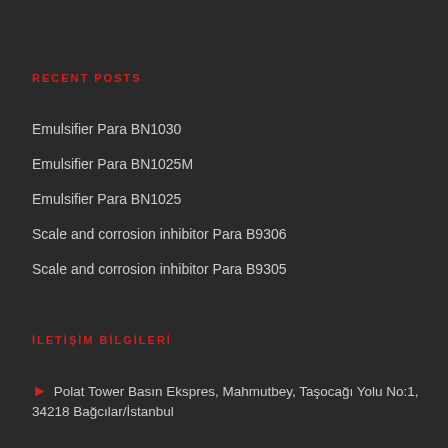RECENT POSTS
Emulsifier Para BN1030
Emulsifier Para BN1025M
Emulsifier Para BN1025
Scale and corrosion inhibitor Para B9306
Scale and corrosion inhibitor Para B9305
İLETİŞİM BİLGİLERİ
Polat Tower Basın Ekspres, Mahmutbey, Taşocağı Yolu No:1, 34218 Bağcılar/İstanbul